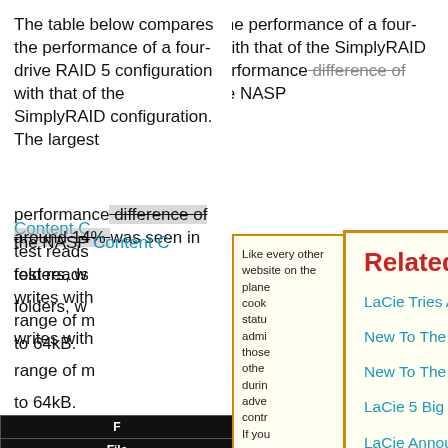The table below compares the performance of a four-drive RAID 5 configuration with that of the SimplyRAID configuration. The largest performance difference of around 14% was seen in the NASP... Content C... test reads... folders, w... writes with... range of m... to 64kB.
Like every other website on the planet, SmallNetBuilder uses cookies. Our cookies track login status, but we only allow admins to log in anyway, so those don't apply to you. Any other cookies you pick up during your visit come from advertisers, which we don't control. If you continue to use the site, you agree to tolerate our use of cookies. Thank you!
[Figure (screenshot): Related Articles popup overlay with orange border on light yellow background, containing title 'Related Articles' in red bold and five cyan-colored article links: 'LaCie Tries Anew for a Biz Class NAS Hit', 'New To The Charts: LaCie 5big Network 2', 'New To The Charts: LaCie 5big Network', 'LaCie 5 Big Network 2 Reviewed', 'LaCie Announces New Windows Server NASes'. Close button (x) in top right corner.]
| F... | File... | Dire... | Direct... | C... |
| --- | --- | --- | --- | --- |